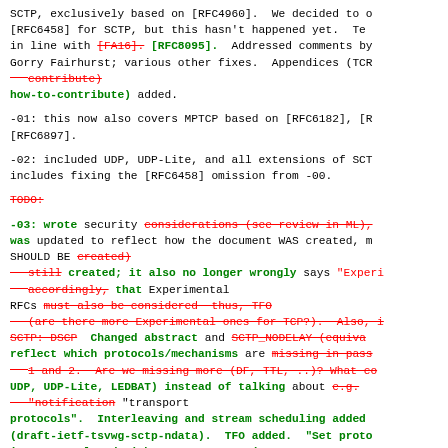SCTP, exclusively based on [RFC4960].  We decided to [RFC6458] for SCTP, but this hasn't happened yet. Te in line with [FA16]. [RFC8095].  Addressed comments by Gorry Fairhurst; various other fixes.  Appendices (TCP contribute) how-to-contribute) added.
-01: this now also covers MPTCP based on [RFC6182], [R [RFC6897].
-02: included UDP, UDP-Lite, and all extensions of SC includes fixing the [RFC6458] omission from -00.
TODO:
-03: wrote security considerations (see review in ML), was updated to reflect how the document WAS created, m SHOULD BE created) still created; it also no longer wrongly says "Experi accordingly, that Experimental RFCs must also be considered  thus, TFO (are there more Experimental ones for TCP?).  Also, i SCTP: DSCP  Changed abstract and SCTP_NODELAY (equiva reflect which protocols/mechanisms are missing in pas 1 and 2.  Are we missing more (DF, TTL, ..)? What co UDP, UDP-Lite, LEDBAT) instead of talking about e.g. "notification "transport protocols".  Interleaving and stream scheduling added (draft-ietf-tsvwg-sctp-ndata).  TFO added.  "Set prot in SCTP replaced with per-parameter (or parameter gro